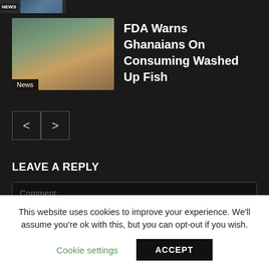[Figure (screenshot): Small news thumbnail strip at top with NEWS badge and partial image]
[Figure (photo): Thumbnail photo of person standing on beach/coast with fish, labeled News]
FDA Warns Ghanaians On Consuming Washed Up Fish
[Figure (other): Navigation previous and next arrow buttons]
LEAVE A REPLY
Comment:
This website uses cookies to improve your experience. We'll assume you're ok with this, but you can opt-out if you wish.
Cookie settings
ACCEPT